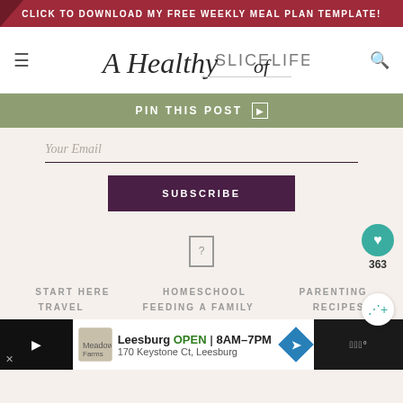CLICK TO DOWNLOAD MY FREE WEEKLY MEAL PLAN TEMPLATE!
[Figure (logo): A Healthy Slice of Life script and serif logotype]
PIN THIS POST
Your Email
SUBSCRIBE
[Figure (other): Image placeholder with question mark]
START HERE
HOMESCHOOL
PARENTING
TRAVEL
FEEDING A FAMILY
RECIPES
363
Leesburg  OPEN  8AM–7PM  170 Keystone Ct, Leesburg